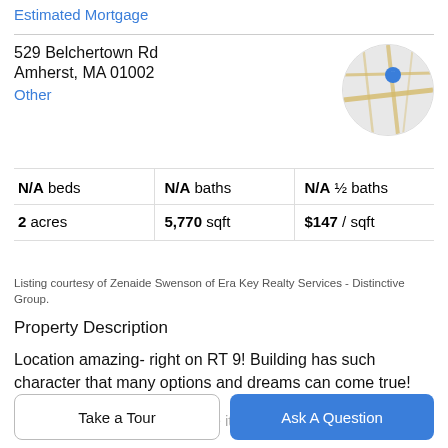Estimated Mortgage
529 Belchertown Rd
Amherst, MA 01002
Other
[Figure (map): Circular map thumbnail showing location pin on a street map]
|  |
| --- |
| N/A beds | N/A baths | N/A ½ baths |
| 2 acres | 5,770 sqft | $147 / sqft |
Listing courtesy of Zenaide Swenson of Era Key Realty Services - Distinctive Group.
Property Description
Location amazing- right on RT 9! Building has such character that many options and dreams can come true!
With a little work you can make it. Do you need a
Take a Tour
Ask A Question